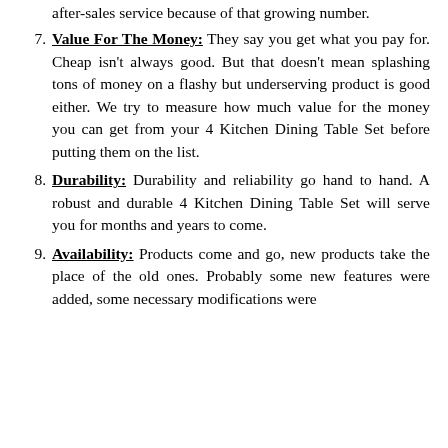after-sales service because of that growing number.
7. Value For The Money: They say you get what you pay for. Cheap isn't always good. But that doesn't mean splashing tons of money on a flashy but underserving product is good either. We try to measure how much value for the money you can get from your 4 Kitchen Dining Table Set before putting them on the list.
8. Durability: Durability and reliability go hand to hand. A robust and durable 4 Kitchen Dining Table Set will serve you for months and years to come.
9. Availability: Products come and go, new products take the place of the old ones. Probably some new features were added, some necessary modifications were